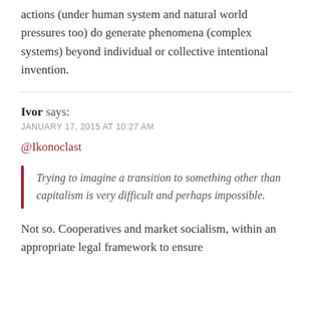actions (under human system and natural world pressures too) do generate phenomena (complex systems) beyond individual or collective intentional invention.
Ivor says:
JANUARY 17, 2015 AT 10:27 AM
@Ikonoclast
Trying to imagine a transition to something other than capitalism is very difficult and perhaps impossible.
Not so. Cooperatives and market socialism, within an appropriate legal framework to ensure